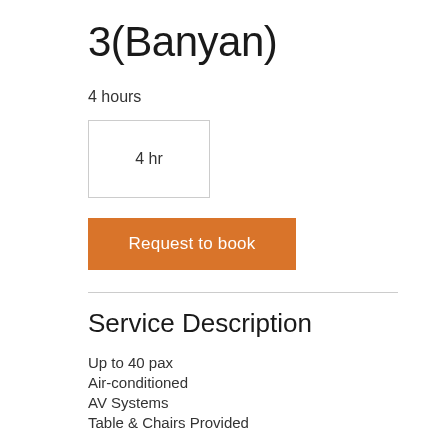3(Banyan)
4 hours
4 hr
Request to book
Service Description
Up to 40 pax
Air-conditioned
AV Systems
Table & Chairs Provided